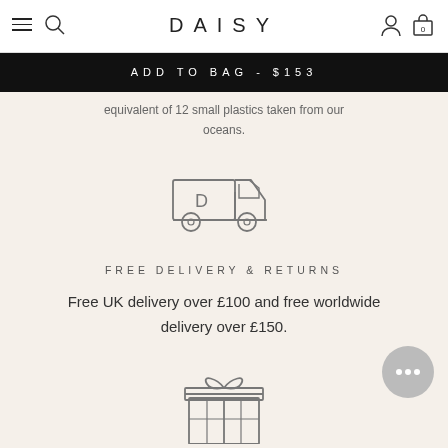DAISY
ADD TO BAG - $153
equivalent of 12 small plastics taken from our oceans.
[Figure (illustration): Delivery truck icon with letter D on side, line art style]
FREE DELIVERY & RETURNS
Free UK delivery over £100 and free worldwide delivery over £150.
[Figure (illustration): Gift box icon with ribbon and bow, line art style]